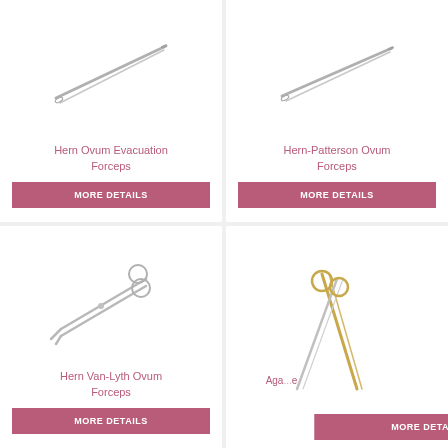[Figure (illustration): Hern Ovum Evacuation Forceps surgical instrument - silver/gray elongated forceps shown diagonally]
Hern Ovum Evacuation Forceps
MORE DETAILS
[Figure (illustration): Hern-Patterson Ovum Forceps surgical instrument - silver/gray elongated forceps shown diagonally]
Hern-Patterson Ovum Forceps
MORE DETAILS
[Figure (illustration): Hern Van-Lyth Ovum Forceps - silver scissors-like forceps with ring handles shown diagonally]
Hern Van-Lyth Ovum Forceps
MORE DETAILS
[Figure (illustration): Agarwal (partially visible) surgical forceps - gold/silver handles with long shafts crossed]
Aga...e
MORE DETAILS